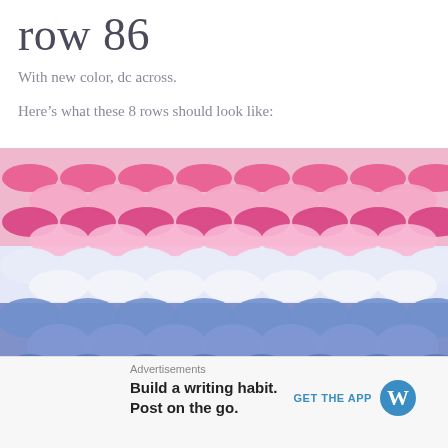row 86
With new color, dc across.
Here's what these 8 rows should look like:
[Figure (photo): Close-up photo of crochet fabric showing 8 rows in three colors: hot pink/magenta at top, white/light in the middle, and periwinkle blue at the bottom, showing textured shell or fan stitch pattern.]
Advertisements
Build a writing habit. Post on the go.
GET THE APP